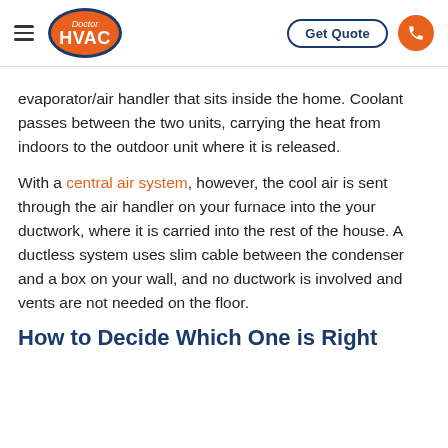Doctor HVAC | Get Quote
evaporator/air handler that sits inside the home. Coolant passes between the two units, carrying the heat from indoors to the outdoor unit where it is released.
With a central air system, however, the cool air is sent through the air handler on your furnace into the your ductwork, where it is carried into the rest of the house. A ductless system uses slim cable between the condenser and a box on your wall, and no ductwork is involved and vents are not needed on the floor.
How to Decide Which One is Right